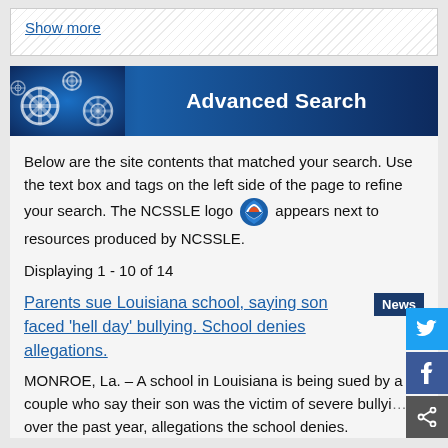Show more
[Figure (screenshot): Advanced Search banner with gears and dark blue gradient background]
Below are the site contents that matched your search. Use the text box and tags on the left side of the page to refine your search. The NCSSLE logo appears next to resources produced by NCSSLE.
Displaying 1 - 10 of 14
Parents sue Louisiana school, saying son faced 'hell day' bullying. School denies allegations.
MONROE, La. – A school in Louisiana is being sued by a couple who say their son was the victim of severe bullying over the past year, allegations the school denies.